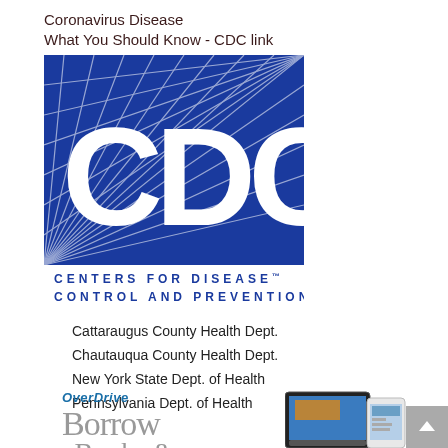Coronavirus Disease
What You Should Know - CDC link
[Figure (logo): CDC logo - Centers for Disease Control and Prevention official blue logo with stylized lines]
Cattaraugus County Health Dept.
Chautauqua County Health Dept.
New York State Dept. of Health
Pennsylvania Dept. of Health
[Figure (logo): OverDrive logo with Borrow eBooks text and tablet/phone device image]